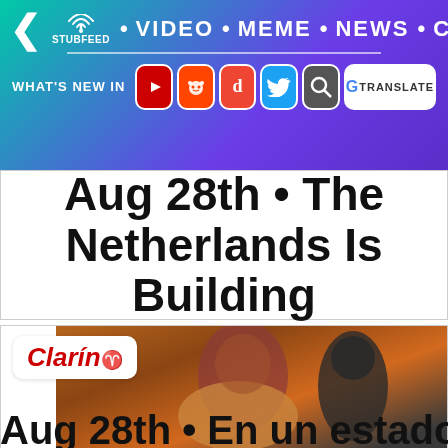[Figure (screenshot): StubFeed app navigation header bar with gradient background (teal to purple), back arrow, StubFeed logo with wifi icon, nav items VIDEO, MEME, NEWS, CRYPTO, hamburger menu, and social media icons row: YouTube, Reddit, Digg, Twitter, Search, Google Translate. 'WHAT'S NEW IN' label precedes icons.]
Aug 28th • The Netherlands Is Building
[Figure (screenshot): News article card showing Clarín logo in top-left and a photo of a woman with dark red hair leaning forward, with a person in dark clothing behind her.]
Aug 28th • En un estado